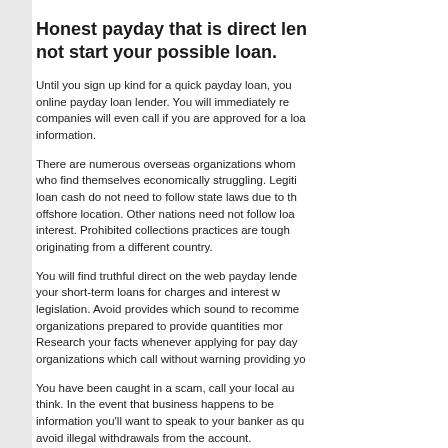Honest payday that is direct lenders not start your possible loan.
Until you sign up kind for a quick payday loan, you online payday loan lender. You will immediately re companies will even call if you are approved for a loa information.
There are numerous overseas organizations whom who find themselves economically struggling. Legiti loan cash do not need to follow state laws due to th offshore location. Other nations need not follow loa interest. Prohibited collections practices are tough originating from a different country.
You will find truthful direct on the web payday lende your short-term loans for charges and interest w legislation. Avoid provides which sound to recomme organizations prepared to provide quantities mor Research your facts whenever applying for pay day organizations which call without warning providing yo
You have been caught in a scam, call your local au think. In the event that business happens to be information you'll want to speak to your banker as qu avoid illegal withdrawals from the account.